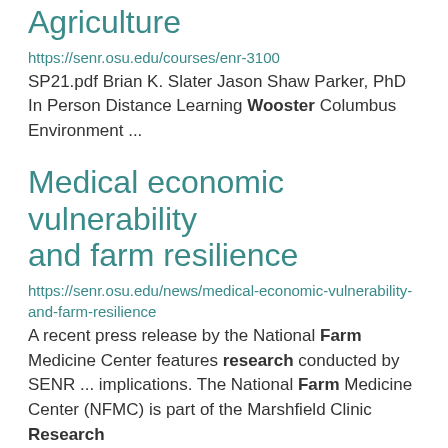Agriculture
https://senr.osu.edu/courses/enr-3100 SP21.pdf Brian K. Slater Jason Shaw Parker, PhD In Person Distance Learning Wooster Columbus Environment ...
Medical economic vulnerability and farm resilience
https://senr.osu.edu/news/medical-economic-vulnerability-and-farm-resilience
A recent press release by the National Farm Medicine Center features research conducted by SENR ... implications. The National Farm Medicine Center (NFMC) is part of the Marshfield Clinic Research